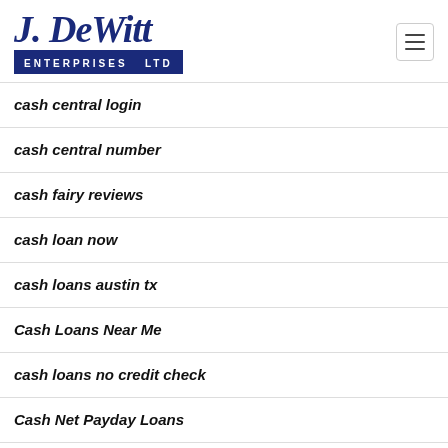[Figure (logo): J. DeWitt Enterprises Ltd logo with blue script text and blue bar with white lettering]
cash central login
cash central number
cash fairy reviews
cash loan now
cash loans austin tx
Cash Loans Near Me
cash loans no credit check
Cash Net Payday Loans